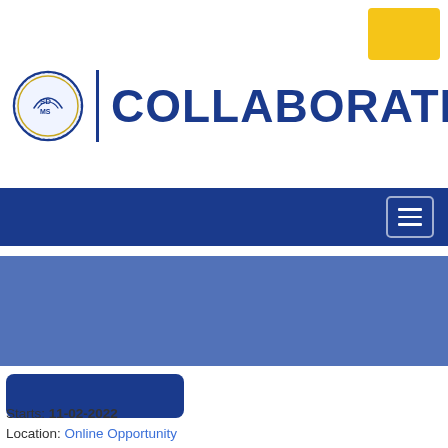[Figure (logo): Yellow decorative rectangle in top-right corner]
[Figure (logo): SDMS circular badge logo with text around the border, next to vertical divider bar and COLLABORATE text in dark navy blue]
[Figure (screenshot): Dark navy blue navigation bar with hamburger/menu icon (three horizontal lines in a rounded rectangle) on the right side]
[Figure (illustration): Medium blue banner/hero area rectangle]
[Figure (illustration): Dark navy blue rounded rectangle button/pill shape]
Starts: 11-02-2022
Location: Online Opportunity